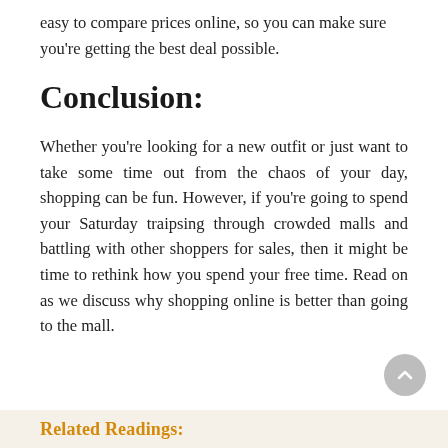easy to compare prices online, so you can make sure you're getting the best deal possible.
Conclusion:
Whether you're looking for a new outfit or just want to take some time out from the chaos of your day, shopping can be fun. However, if you're going to spend your Saturday traipsing through crowded malls and battling with other shoppers for sales, then it might be time to rethink how you spend your free time. Read on as we discuss why shopping online is better than going to the mall.
Related Readings: